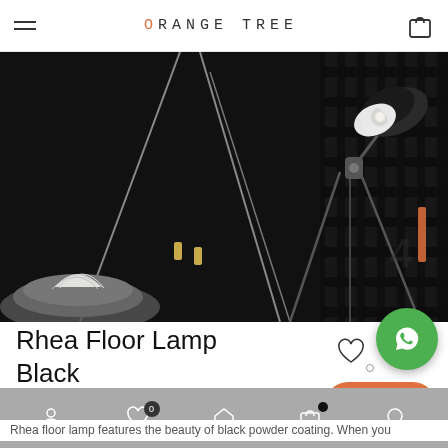ORANGE TREE
[Figure (photo): Black floor lamp with tripod legs and directional spotlight head against dark background, with an open book on a grey dome next to it]
Rhea Floor Lamp Black
₹8,399
[Figure (other): WhatsApp green circle button]
BUY
Rhea floor lamp features the beauty of black powder coating. When you
[Figure (other): Bottom navigation bar with user, wishlist (badge 0), home, cart (black dot), and search icons]